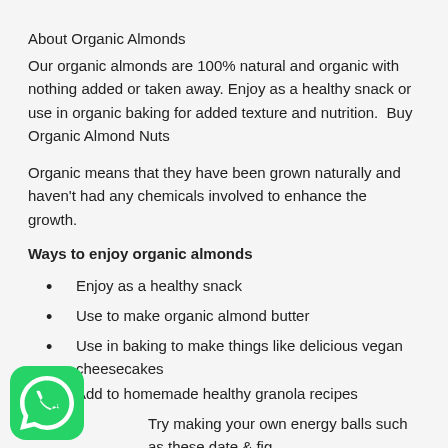About Organic Almonds
Our organic almonds are 100% natural and organic with nothing added or taken away. Enjoy as a healthy snack or use in organic baking for added texture and nutrition.  Buy Organic Almond Nuts
Organic means that they have been grown naturally and haven't had any chemicals involved to enhance the growth.
Ways to enjoy organic almonds
Enjoy as a healthy snack
Use to make organic almond butter
Use in baking to make things like delicious vegan cheesecakes
Add to homemade healthy granola recipes
Try making your own energy balls such as these date & fig